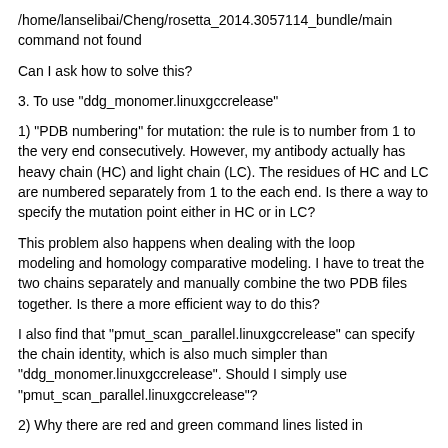/home/lanselibai/Cheng/rosetta_2014.3057114_bundle/main command not found
Can I ask how to solve this?
3. To use "ddg_monomer.linuxgccrelease"
1) "PDB numbering" for mutation: the rule is to number from 1 to the very end consecutively. However, my antibody actually has heavy chain (HC) and light chain (LC). The residues of HC and LC are numbered separately from 1 to the each end. Is there a way to specify the mutation point either in HC or in LC?
This problem also happens when dealing with the loop modeling and homology comparative modeling. I have to treat the two chains separately and manually combine the two PDB files together. Is there a more efficient way to do this?
I also find that "pmut_scan_parallel.linuxgccrelease" can specify the chain identity, which is also much simpler than "ddg_monomer.linuxgccrelease". Should I simply use "pmut_scan_parallel.linuxgccrelease"?
2) Why there are red and green command lines listed in